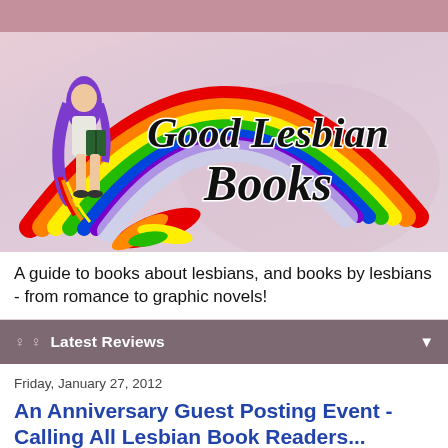[Figure (logo): Good Lesbian Books logo: a rainbow arc with a woman holding a book on the left and bold italic text 'Good Lesbian Books' beneath the rainbow center, on a light pink watercolor background]
A guide to books about lesbians, and books by lesbians - from romance to graphic novels!
♀ ♀ Latest Reviews
Friday, January 27, 2012
An Anniversary Guest Posting Event - Calling All Lesbian Book Readers...